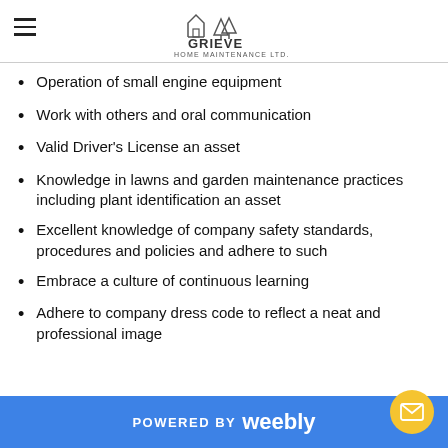Grieve Home Maintenance Ltd.
Operation of small engine equipment
Work with others and oral communication
Valid Driver’s License an asset
Knowledge in lawns and garden maintenance practices including plant identification an asset
Excellent knowledge of company safety standards, procedures and policies and adhere to such
Embrace a culture of continuous learning
Adhere to company dress code to reflect a neat and professional image
POWERED BY weebly